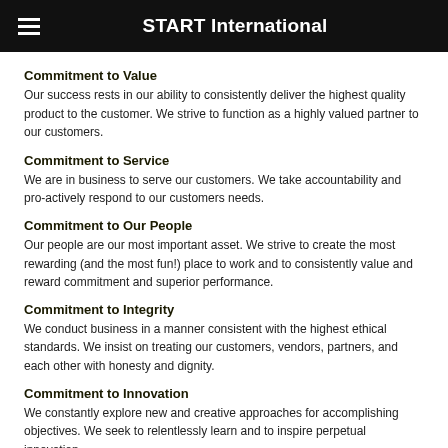START International
Commitment to Value
Our success rests in our ability to consistently deliver the highest quality product to the customer. We strive to function as a highly valued partner to our customers.
Commitment to Service
We are in business to serve our customers. We take accountability and pro-actively respond to our customers needs.
Commitment to Our People
Our people are our most important asset. We strive to create the most rewarding (and the most fun!) place to work and to consistently value and reward commitment and superior performance.
Commitment to Integrity
We conduct business in a manner consistent with the highest ethical standards. We insist on treating our customers, vendors, partners, and each other with honesty and dignity.
Commitment to Innovation
We constantly explore new and creative approaches for accomplishing objectives. We seek to relentlessly learn and to inspire perpetual innovation.